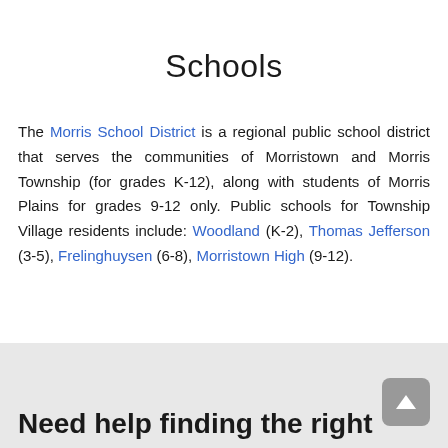Schools
The Morris School District is a regional public school district that serves the communities of Morristown and Morris Township (for grades K-12), along with students of Morris Plains for grades 9-12 only. Public schools for Township Village residents include: Woodland (K-2), Thomas Jefferson (3-5), Frelinghuysen (6-8), Morristown High (9-12).
Need help finding the right